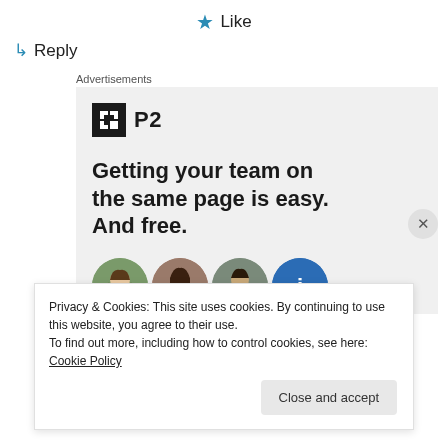★ Like
↳ Reply
Advertisements
[Figure (infographic): P2 advertisement: logo with dark square icon and 'P2' text. Headline reads 'Getting your team on the same page is easy. And free.' Below are four circular avatar images of people.]
Privacy & Cookies: This site uses cookies. By continuing to use this website, you agree to their use.
To find out more, including how to control cookies, see here: Cookie Policy
Close and accept